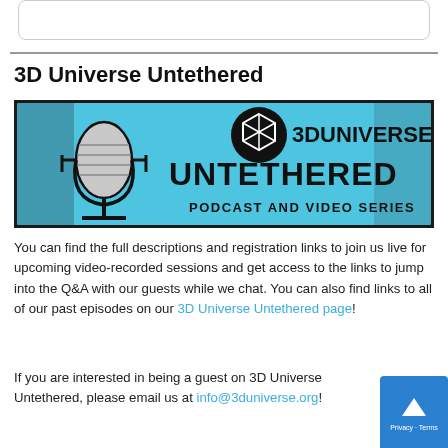[Figure (illustration): Top card/box with rounded border, partially visible social media icons inside]
3D Universe Untethered
[Figure (logo): 3D Universe Untethered podcast and video series banner — light blue distressed background, microphone icon on left, 3D Universe logo circle, bold text UNTETHERED, subtitle PODCAST AND VIDEO SERIES]
You can find the full descriptions and registration links to join us live for upcoming video-recorded sessions and get access to the links to jump into the Q&A with our guests while we chat. You can also find links to all of our past episodes on our 3D Universe Untethered page!
If you are interested in being a guest on 3D Universe Untethered, please email us at info@3duniverse.org!